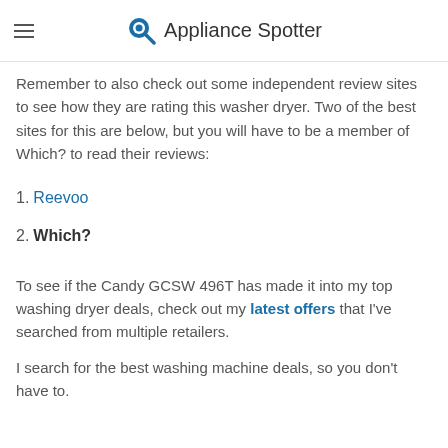Appliance Spotter
The maximum price you should be paying for the Candy GCSW 496T is... should be below £350.
Remember to also check out some independent review sites to see how they are rating this washer dryer. Two of the best sites for this are below, but you will have to be a member of Which? to read their reviews:
1. Reevoo
2. Which?
To see if the Candy GCSW 496T has made it into my top washing dryer deals, check out my latest offers that I've searched from multiple retailers.
I search for the best washing machine deals, so you don't have to.